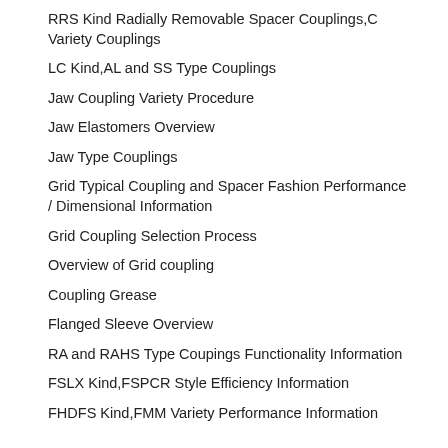RRS Kind Radially Removable Spacer Couplings,C Variety Couplings
LC Kind,AL and SS Type Couplings
Jaw Coupling Variety Procedure
Jaw Elastomers Overview
Jaw Type Couplings
Grid Typical Coupling and Spacer Fashion Performance / Dimensional Information
Grid Coupling Selection Process
Overview of Grid coupling
Coupling Grease
Flanged Sleeve Overview
RA and RAHS Type Coupings Functionality Information
FSLX Kind,FSPCR Style Efficiency Information
FHDFS Kind,FMM Variety Performance Information